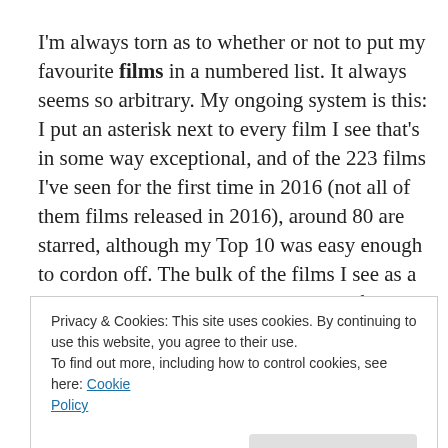I'm always torn as to whether or not to put my favourite films in a numbered list. It always seems so arbitrary. My ongoing system is this: I put an asterisk next to every film I see that's in some way exceptional, and of the 223 films I've seen for the first time in 2016 (not all of them films released in 2016), around 80 are starred, although my Top 10 was easy enough to cordon off. The bulk of the films I see as a rule are in English, but the ones that often stand
Privacy & Cookies: This site uses cookies. By continuing to use this website, you agree to their use.
To find out more, including how to control cookies, see here: Cookie Policy
had ever typed Grimur Hakonarson, Laszlo Nemes or